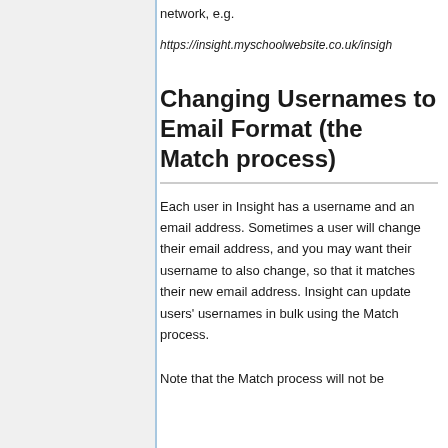network, e.g.
https://insight.myschoolwebsite.co.uk/insigh
Changing Usernames to Email Format (the Match process)
Each user in Insight has a username and an email address. Sometimes a user will change their email address, and you may want their username to also change, so that it matches their new email address. Insight can update users' usernames in bulk using the Match process.
Note that the Match process will not be